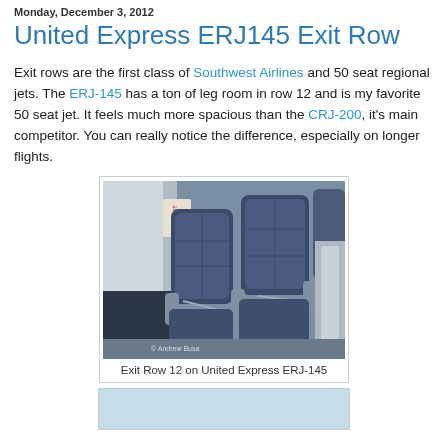Monday, December 3, 2012
United Express ERJ145 Exit Row
Exit rows are the first class of Southwest Airlines and 50 seat regional jets. The ERJ-145 has a ton of leg room in row 12 and is my favorite 50 seat jet. It feels much more spacious than the CRJ-200, it's main competitor.  You can really notice the difference, especially on longer flights.
[Figure (photo): Photo of exit row seats (row 12) on United Express ERJ-145 aircraft, showing blue leather seats with gray armrests and seatbelts. Watermark reads '© Andrew Busa'.]
Exit Row 12 on United Express ERJ-145
[Figure (photo): Partial second photo, light blue background visible at bottom of page.]